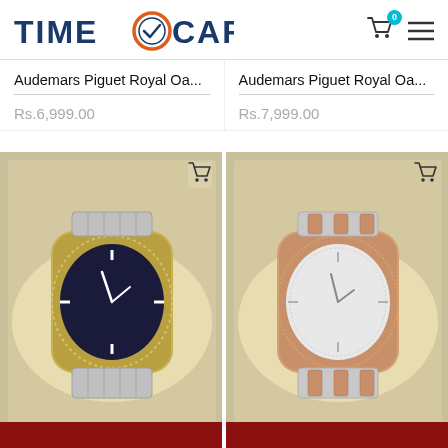[Figure (logo): TimeCart logo with clock icon and shopping cart with badge '0' and hamburger menu]
Audemars Piguet Royal Oa...
Rs.6,999.00
Audemars Piguet Royal Oa...
Rs.7,999.00
[Figure (photo): Audemars Piguet Royal Oak watch with blue dial, diamond bezel, gold and silver bracelet in a cream-lined box]
[Figure (photo): Audemars Piguet Royal Oak watch with white/silver dial, diamond bezel, rose gold and silver bracelet in a cream-lined box]